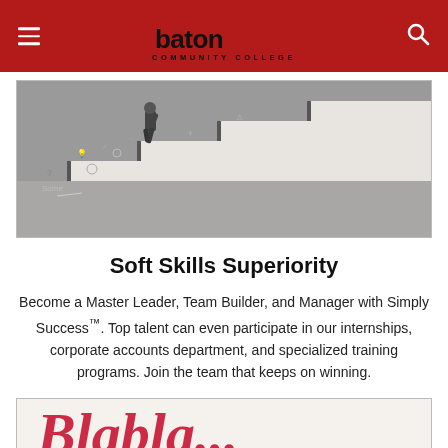Baton Rouge Community College
[Figure (photo): Man in suit climbing stairs with business concept doodles drawn on white staircase against dark background]
Soft Skills Superiority
Become a Master Leader, Team Builder, and Manager with Simply Success™. Top talent can even participate in our internships, corporate accounts department, and specialized training programs. Join the team that keeps on winning.
[Figure (photo): Partial view of red handwritten-style text at bottom of page, cropped]